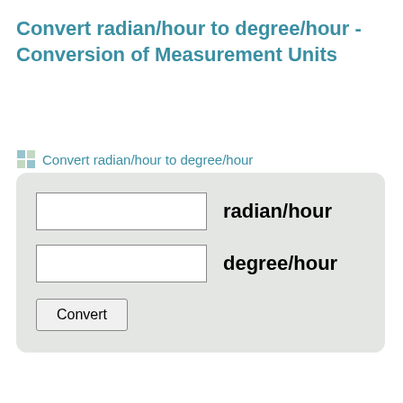Convert radian/hour to degree/hour - Conversion of Measurement Units
Convert radian/hour to degree/hour
[Figure (screenshot): Conversion tool UI with two input fields labeled radian/hour and degree/hour, and a Convert button, inside a rounded light gray box]